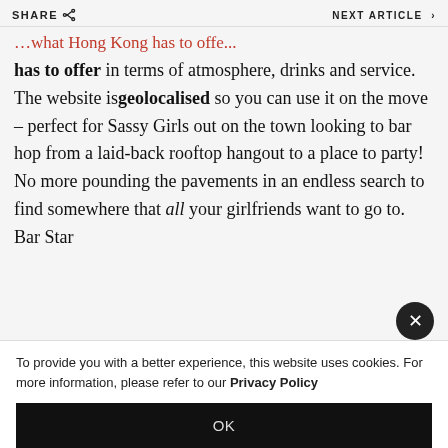SHARE | NEXT ARTICLE
…what Hong Kong has to offer in terms of atmosphere, drinks and service. The website is geolocalised so you can use it on the move – perfect for Sassy Girls out on the town looking to bar hop from a laid-back rooftop hangout to a place to party! No more pounding the pavements in an endless search to find somewhere that all your girlfriends want to go to. Bar Star
To provide you with a better experience, this website uses cookies. For more information, please refer to our Privacy Policy
OK